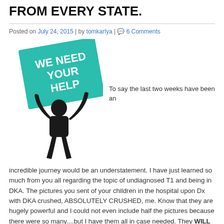FROM EVERY STATE.
Posted on July 24, 2015 | by tomkarlya | 6 Comments
[Figure (illustration): Silhouette of a person holding up a teal sign that reads WE NEED YOUR HELP]
To say the last two weeks have been an incredible journey would be an understatement. I have just learned so much from you all regarding the topic of undiagnosed T1 and being in DKA. The pictures you sent of your children in the hospital upon Dx with DKA crushed, ABSOLUTELY CRUSHED, me. Know that they are hugely powerful and I could not even include half the pictures because there were so many....but I have them all in case needed. They WILL make a difference.
The stories you sent were so incredibly vivid and sad. Your stories also give me the strength to continue and to spread the word. Someone is in California